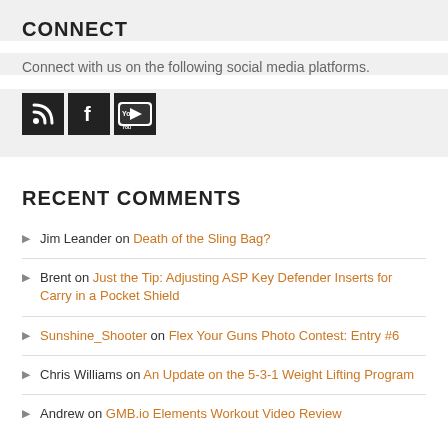CONNECT
Connect with us on the following social media platforms.
[Figure (illustration): Three social media icons: RSS feed, Facebook, and YouTube, displayed as white icons on dark square backgrounds.]
RECENT COMMENTS
Jim Leander on Death of the Sling Bag?
Brent on Just the Tip: Adjusting ASP Key Defender Inserts for Carry in a Pocket Shield
Sunshine_Shooter on Flex Your Guns Photo Contest: Entry #6
Chris Williams on An Update on the 5-3-1 Weight Lifting Program
Andrew on GMB.io Elements Workout Video Review